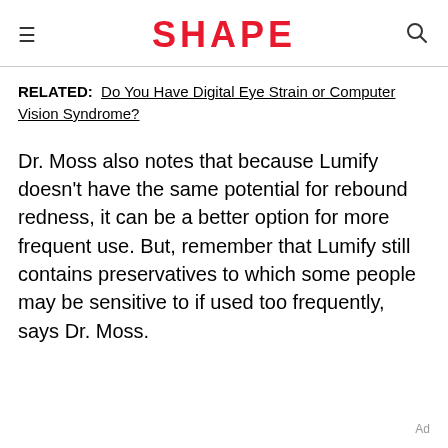SHAPE
RELATED:  Do You Have Digital Eye Strain or Computer Vision Syndrome?
Dr. Moss also notes that because Lumify doesn't have the same potential for rebound redness, it can be a better option for more frequent use. But, remember that Lumify still contains preservatives to which some people may be sensitive to if used too frequently, says Dr. Moss.
Ad